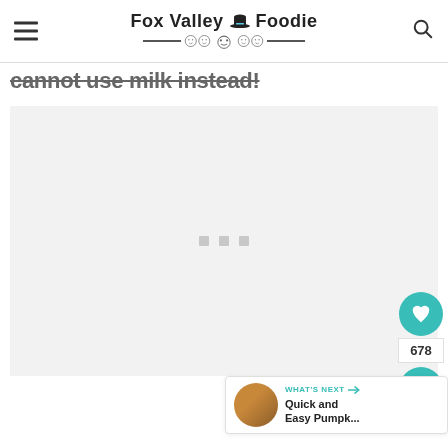Fox Valley Foodie
cannot use milk instead!
[Figure (photo): Large image content area placeholder with three small gray squares centered]
[Figure (infographic): Social sidebar with heart button (678 saves) and share button]
WHAT'S NEXT → Quick and Easy Pumpk...